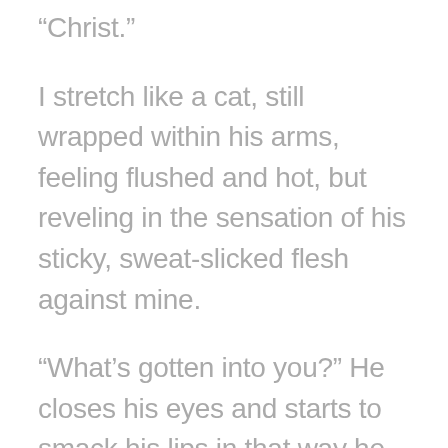“Christ.”
I stretch like a cat, still wrapped within his arms, feeling flushed and hot, but reveling in the sensation of his sticky, sweat-slicked flesh against mine.
“What’s gotten into you?” He closes his eyes and starts to smack his lips in that way he does right before he drifts off to sleep. Still, he’s talking. The words fall out of his mouth with a yawn as he absently rubs at the hickey I’ve left on his neck, “I think you’ve left marks.”